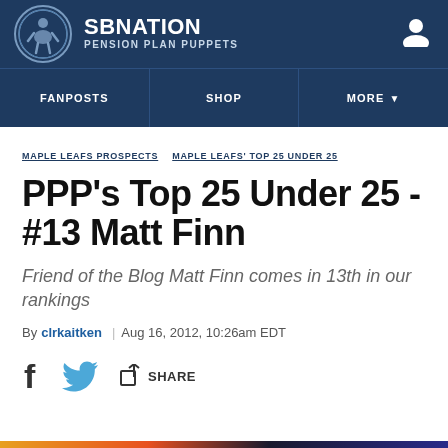SBNATION PENSION PLAN PUPPETS
FANPOSTS | SHOP | MORE
MAPLE LEAFS PROSPECTS  MAPLE LEAFS' TOP 25 UNDER 25
PPP's Top 25 Under 25 - #13 Matt Finn
Friend of the Blog Matt Finn comes in 13th in our rankings
By clrkaitken | Aug 16, 2012, 10:26am EDT
SHARE